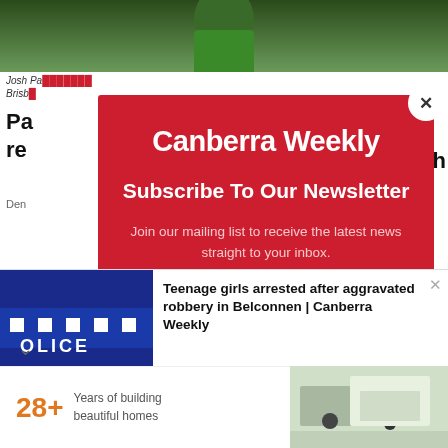[Figure (photo): Partial view of a person in a green top, cropped at the top of the page]
Josh Pa... Brisbane
Pa... re... sh
Den...
A rej...
Bron...
[Figure (screenshot): Canberra Weekly newsletter subscription modal popup with red background, white close button (×), logo 'Canberra Weekly', headline 'Subscribe To Our Newsletter', and body text 'Join our mailing list to receive the latest news straight to your inbox.']
Teenage girls arrested after aggravated robbery in Belconnen | Canberra Weekly
[Figure (photo): Police car or sign with POLICE lettering in blue and white checkered pattern]
28+ Years of building beautiful homes